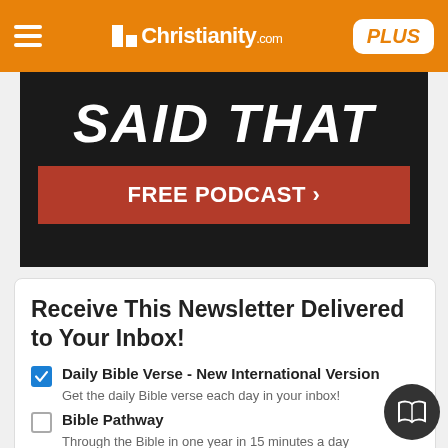Christianity.com PLUS
[Figure (screenshot): Dark leather-textured banner with bold italic white text 'SAID THAT' and a red button labeled 'FREE PODCAST >']
Receive This Newsletter Delivered to Your Inbox!
Daily Bible Verse - New International Version — Get the daily Bible verse each day in your inbox!
Bible Pathway — Through the Bible in one year in 15 minutes a day
More Newsletters ▶
Enter your email address — SIGN UP